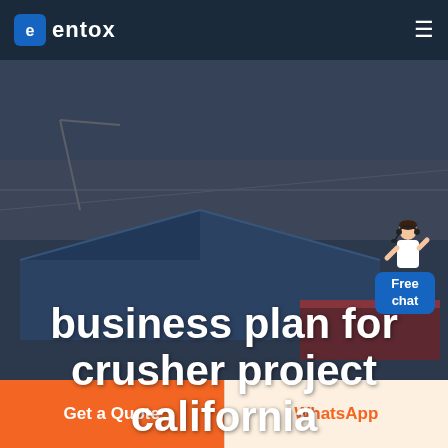entox
[Figure (photo): Aerial view of an industrial facility with blue roofed buildings and surrounding landscape, used as hero background image]
business plan for crusher project california
[Figure (illustration): Customer service representative figure next to a blue Free chat button widget]
Get a Quote
WhatsApp